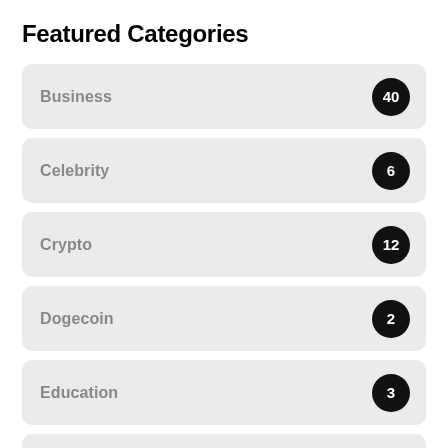Featured Categories
Business — 40
Celebrity — 6
Crypto — 12
Dogecoin — 2
Education — 3